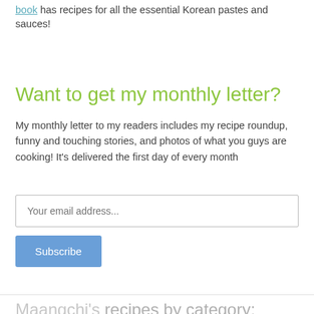book has recipes for all the essential Korean pastes and sauces!
Want to get my monthly letter?
My monthly letter to my readers includes my recipe roundup, funny and touching stories, and photos of what you guys are cooking! It's delivered the first day of every month
Your email address...
Subscribe
Maangchi's recipes by category: